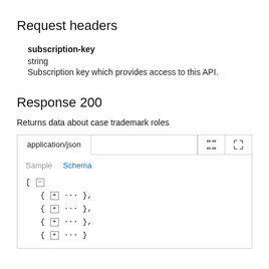Request headers
subscription-key
string
Subscription key which provides access to this API.
Response 200
Returns data about case trademark roles
[Figure (screenshot): API response panel showing application/json tab selected with Schema tab active. JSON tree shows an array [ - with four collapsed objects: { + ... }, { + ... }, { + ... }, { + ... }]